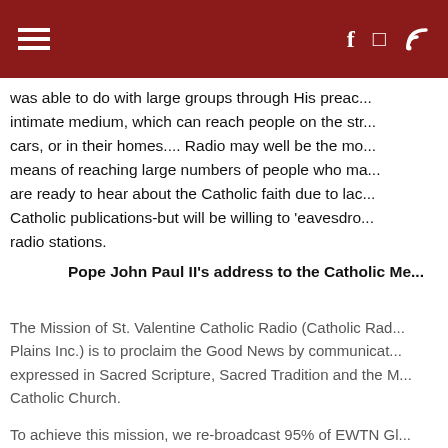St. Valentine Catholic Radio — navigation header with hamburger menu and social icons
was able to do with large groups through His preac... intimate medium, which can reach people on the str... cars, or in their homes.... Radio may well be the mo... means of reaching large numbers of people who ma... are ready to hear about the Catholic faith due to lac... Catholic publications-but will be willing to 'eavesdro... radio stations.
Pope John Paul II's address to the Catholic Me...
The Mission of St. Valentine Catholic Radio (Catholic Rad... Plains Inc.) is to proclaim the Good News by communicat... expressed in Sacred Scripture, Sacred Tradition and the M... Catholic Church.
To achieve this mission, we re-broadcast 95% of EWTN Gl... programs designed to communicate the truth, foster divin...